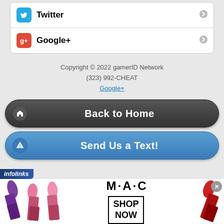Twitter
Google+
Copyright © 2022 gamerID Network
(323) 992-CHEAT
Google+
Back to Home
Send Us a Text!
[Figure (screenshot): infolinks ad banner with MAC cosmetics lipstick advertisement and SHOP NOW button]